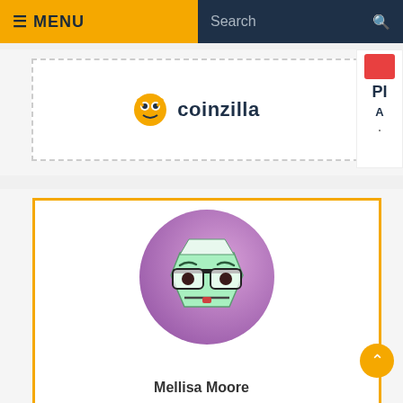≡ MENU | Search
[Figure (logo): Coinzilla advertising banner with monster logo and coinzilla text]
[Figure (illustration): Partially visible right-side advertisement with red icon and 'PI' text]
[Figure (illustration): Profile avatar: cartoon hexagonal green robot face with glasses on purple gradient circle background]
Mellisa Moore